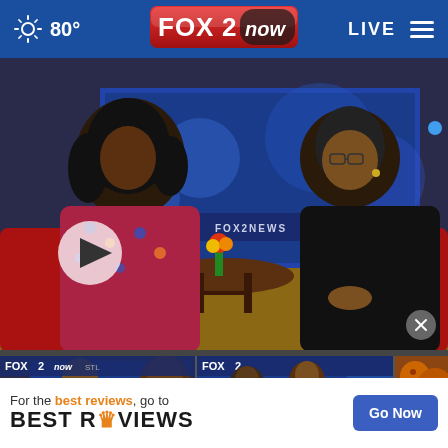80° FOX 2 now LIVE
[Figure (screenshot): Fox 2 News studio broadcast with two women seated in red chairs at a glass table, FOX 2 NEWS ticker banner visible in background, play button overlay on left side]
[Figure (screenshot): Thumbnail: Fox 2 now studio segment with two people, play button overlay]
[Figure (screenshot): Thumbnail: Fox 2 dance segment with performers in colorful costumes, play button overlay]
[Figure (photo): Thumbnail: partial image of food (wings)]
Saxophonist goes viral, beco...
Dance into cultural...
Wing ... lowes...
For the best reviews, go to BEST REVIEWS